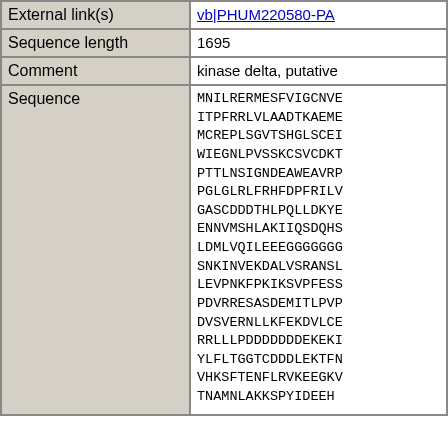| Field | Value |
| --- | --- |
| External link(s) | vb|PHUM220580-PA |
| Sequence length | 1695 |
| Comment | kinase delta, putative |
| Sequence | MNILRERMESFVIGCNVEN
ITPFRRLVLAADTKAEMEE
MCREPLSGVTSHGLSCEIC
WIEGNLPVSSKCSVCDKTC
PTTLNSIGNDEAWEAVRPC
PGLGLRLFRHFDPFRILVC
GASCDDDTHLPQLLDKYEH
ENNVMSHLAKIIQSDQHSV
LDMLVQILEEEGGGGGGGC
SNKINVEKDALVSRANSLK
LEVPNKFPKIKSVPFESSL
PDVRRESASDEMITLPVPM
DVSVERNLLKFEKDVLCEF
RRLLLPDDDDDDEKEKIII
YLFLTGGTCDDDLEKTFNK
VHKSFTENFLRVKEEGKVS
TNAMNLAKKSPYIDEEHLL
MSFKKKPRRIVKKLEEDLT
DEDVDLTRVDVDKSKVKID
LQASPQATRRVSNCSLMKA
SGGAGLISOVLLANADALC
KREEHPEKCRSRAKNYMWY
IPSFMGGTNFWGGKEEDDC
QINVLGDEGVPIQVDGEAW
QTQQLTQASQTVATSSSHS |